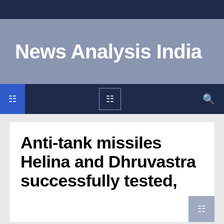News Analysis India
Anti-tank missiles Helina and Dhruvastra successfully tested,